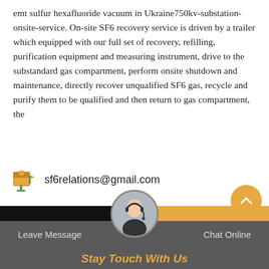emt sulfur hexafluoride vacuum in Ukraine750kv-substation-onsite-service. On-site SF6 recovery service is driven by a trailer which equipped with our full set of recovery, refilling, purification equipment and measuring instrument, drive to the substandard gas compartment, perform onsite shutdown and maintenance, directly recover unqualified SF6 gas, recycle and purify them to be qualified and then return to gas compartment, the
sf6relations@gmail.com
Send Message
Get a Quote
Leave Message  Stay Touch With Us  Chat Online